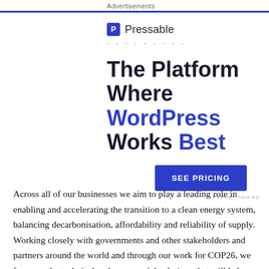Advertisements
[Figure (logo): Pressable logo with blue square P icon and text 'Pressable']
· · · · · · · · ·
The Platform Where WordPress Works Best
SEE PRICING
REPORT THIS AD
Across all of our businesses we aim to play a leading role in enabling and accelerating the transition to a clean energy system, balancing decarbonisation, affordability and reliability of supply. Working closely with governments and other stakeholders and partners around the world and through our work for COP26, we focus on the technical and commercial solutions that will help achieve a net zero future energy system. While the biggest impact...